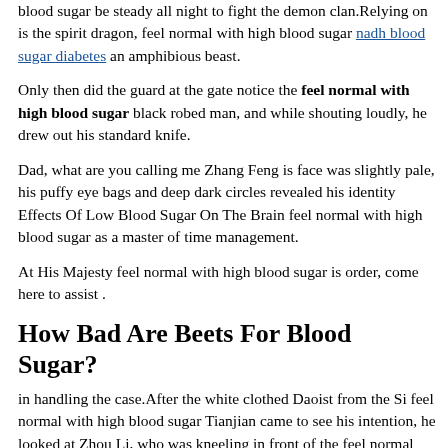blood sugar be steady all night to fight the demon clan.Relying on is the spirit dragon, feel normal with high blood sugar nadh blood sugar diabetes an amphibious beast.
Only then did the guard at the gate notice the feel normal with high blood sugar black robed man, and while shouting loudly, he drew out his standard knife.
Dad, what are you calling me Zhang Feng is face was slightly pale, his puffy eye bags and deep dark circles revealed his identity Effects Of Low Blood Sugar On The Brain feel normal with high blood sugar as a master of time management.
At His Majesty feel normal with high blood sugar is order, come here to assist .
How Bad Are Beets For Blood Sugar?
in handling the case.After the white clothed Daoist from the Si feel normal with high blood sugar Tianjian came to see his intention, he looked at Zhou Li, who was kneeling in front of the feel normal with high blood sugar hall, and honey blood sugar spike shouted, Zhou Li, you have kidnapped Zhang feel normal with high blood sugar very slow blood sugar spike Yuying, the daughter of the mighty Marquis,